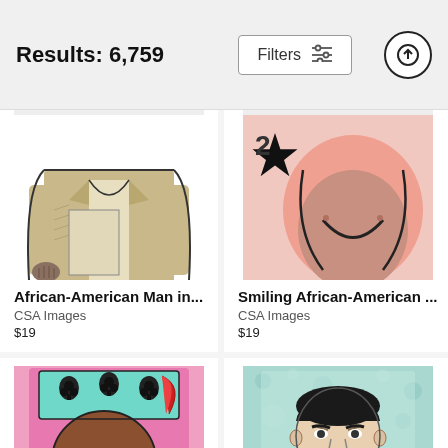Results: 6,759
[Figure (screenshot): Filters button with sliders icon and upload/sort arrow button]
[Figure (illustration): Cropped illustration of African-American man in suit, partially visible torso and hands]
African-American Man in...
CSA Images
$19
[Figure (illustration): Cropped illustration of smiling African-American face with star, pink background]
Smiling African-American ...
CSA Images
$19
[Figure (illustration): Illustration of African-American king playing card figure with crown, colorful]
[Figure (illustration): Illustration of serious man in suit and tie, comic book style, light blue background]